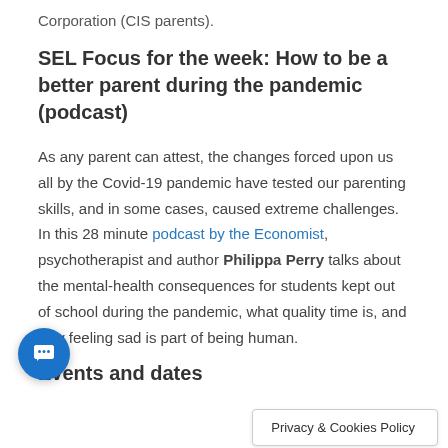Corporation (CIS parents).
SEL Focus for the week: How to be a better parent during the pandemic (podcast)
As any parent can attest, the changes forced upon us all by the Covid-19 pandemic have tested our parenting skills, and in some cases, caused extreme challenges. In this 28 minute podcast by the Economist, psychotherapist and author Philippa Perry talks about the mental-health consequences for students kept out of school during the pandemic, what quality time is, and why feeling sad is part of being human.
Events and dates